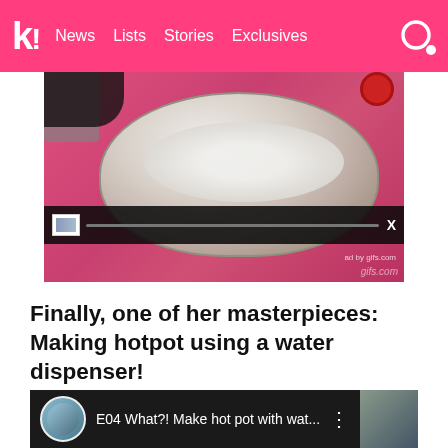k! News Lists Stories Exclusives
[Figure (photo): Food photo showing a bowl with white food/rice being prepared on a pink mat, with an advertisement overlay bar at the bottom showing 'ad by gifs.com' and 'gifs.com' watermark]
Finally, one of her masterpieces: Making hotpot using a water dispenser!
[Figure (screenshot): Video thumbnail with dark background showing a person's avatar circle, text 'E04 What?! Make hot pot with wat...' and three dots menu icon]